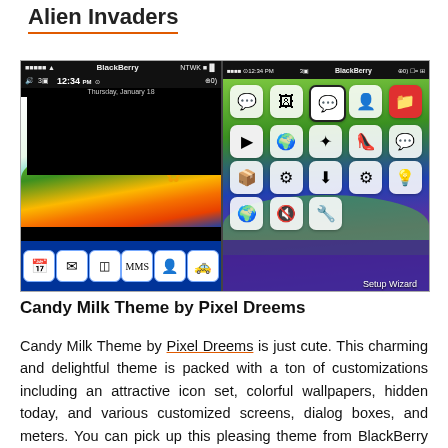Alien Invaders
[Figure (screenshot): Two BlackBerry phone screenshots showing a colorful theme with green and yellow wave wallpaper, flower icons, app grid, and dock. Left screen shows time 12:34 PM on Thursday January 18. Right screen shows home screen app grid with icons and 'Setup Wizard' label.]
Candy Milk Theme by Pixel Dreems
Candy Milk Theme by Pixel Dreems is just cute. This charming and delightful theme is packed with a ton of customizations including an attractive icon set, colorful wallpapers, hidden today, and various customized screens, dialog boxes, and meters. You can pick up this pleasing theme from BlackBerry App World for